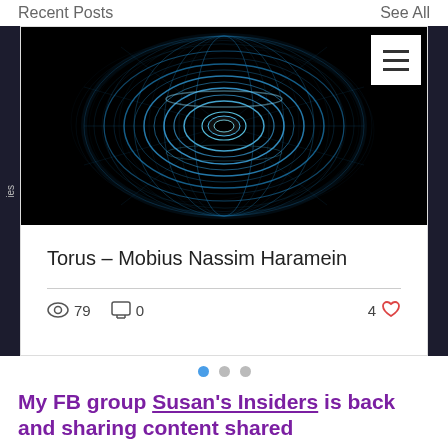Recent Posts    See All
[Figure (photo): A glowing blue torus/wormhole shape on a black background, with a hamburger menu button overlaid in the top-right corner]
Torus – Mobius Nassim Haramein
79 views  0 comments  4 likes
My FB group Susan's Insiders is back and sharing content shared